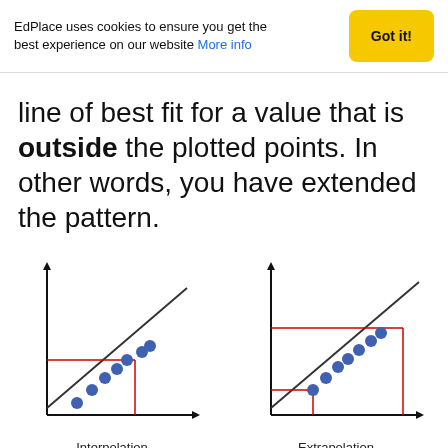EdPlace uses cookies to ensure you get the best experience on our website More info
line of best fit for a value that is outside the plotted points. In other words, you have extended the pattern.
[Figure (illustration): Two side-by-side scatter plots with lines of best fit. Left diagram labeled 'Interpolation' shows a best fit line through data points with a red horizontal line and vertical line intersecting within the data range. Right diagram labeled 'Extrapolation' shows a best fit line extended beyond the data points with a red horizontal and vertical line intersecting outside the plotted data range.]
Interpolation
Extrapolation